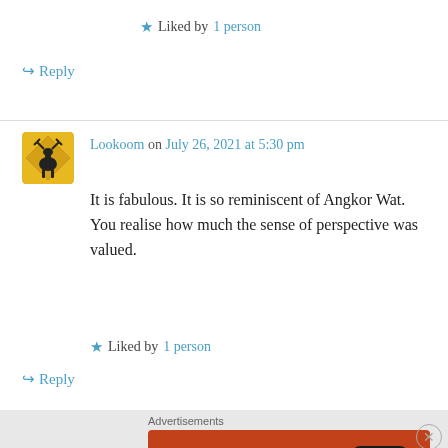★ Liked by 1 person
↪ Reply
Lookoom on July 26, 2021 at 5:30 pm
It is fabulous. It is so reminiscent of Angkor Wat. You realise how much the sense of perspective was valued.
★ Liked by 1 person
↪ Reply
[Figure (infographic): DuckDuckGo advertisement banner showing 'Search, browse, and email with more privacy. All in One Free App' with a smartphone image and DuckDuckGo logo on an orange background.]